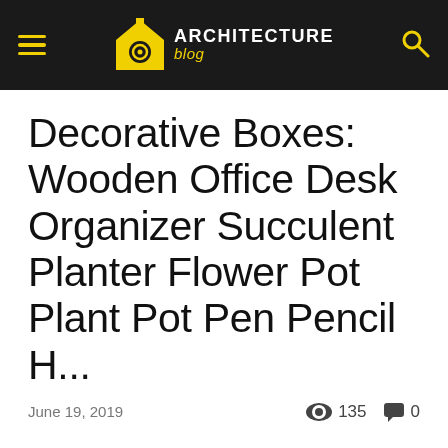ARCHITECTURE blog
Decorative Boxes: Wooden Office Desk Organizer Succulent Planter Flower Pot Plant Pot Pen Pencil H...
June 19, 2019   👁 135   💬 0